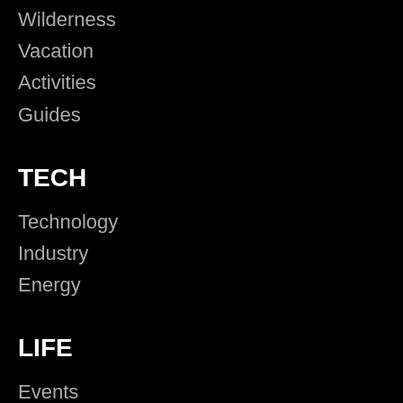Wilderness
Vacation
Activities
Guides
TECH
Technology
Industry
Energy
LIFE
Events
Culture
Entertainment